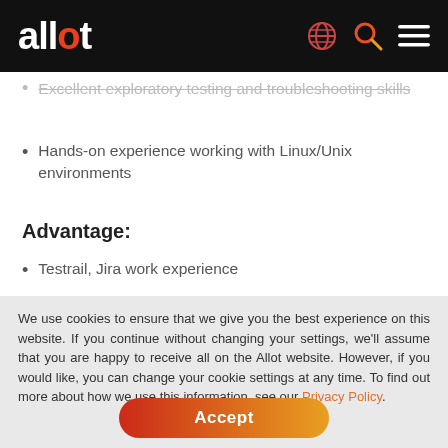allot
Excellent exploratory testing and troubleshooting skills
Hands-on experience working with Linux/Unix environments
Advantage:
Testrail, Jira work experience
We use cookies to ensure that we give you the best experience on this website. If you continue without changing your settings, we'll assume that you are happy to receive all on the Allot website. However, if you would like, you can change your cookie settings at any time. To find out more about how we use this information, see our Privacy Policy.
Accept